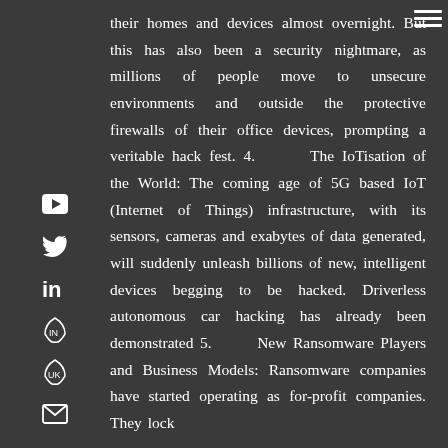their homes and devices almost overnight. But this has also been a security nightmare, as millions of people move to unsecure environments and outside the protective firewalls of their office devices, prompting a veritable hack fest. 4.      The IoTisation of the World: The coming age of 5G based IoT (Internet of Things) infrastructure, with its sensors, cameras and exabytes of data generated, will suddenly unleash billions of new, intelligent devices begging to be hacked. Driverless autonomous car hacking has already been demonstrated 5.      New Ransomware Players and Business Models: Ransomware companies have started operating as for-profit companies. They lock